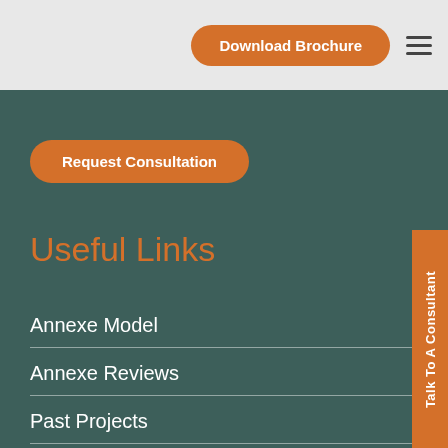Download Brochure
Request Consultation
Useful Links
Annexe Model
Annexe Reviews
Past Projects
Show Annexe
Talk To A Consultant